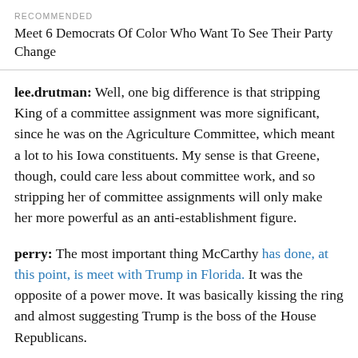RECOMMENDED
Meet 6 Democrats Of Color Who Want To See Their Party Change
lee.drutman: Well, one big difference is that stripping King of a committee assignment was more significant, since he was on the Agriculture Committee, which meant a lot to his Iowa constituents. My sense is that Greene, though, could care less about committee work, and so stripping her of committee assignments will only make her more powerful as an anti-establishment figure.
perry: The most important thing McCarthy has done, at this point, is meet with Trump in Florida. It was the opposite of a power move. It was basically kissing the ring and almost suggesting Trump is the boss of the House Republicans.